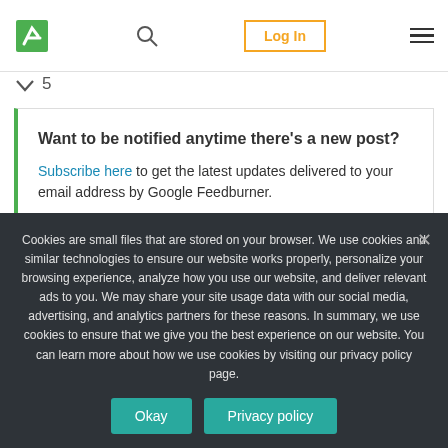Logo | Search | Log In | Menu
5
Want to be notified anytime there's a new post? Subscribe here to get the latest updates delivered to your email address by Google Feedburner.
Cookies are small files that are stored on your browser. We use cookies and similar technologies to ensure our website works properly, personalize your browsing experience, analyze how you use our website, and deliver relevant ads to you. We may share your site usage data with our social media, advertising, and analytics partners for these reasons. In summary, we use cookies to ensure that we give you the best experience on our website. You can learn more about how we use cookies by visiting our privacy policy page.